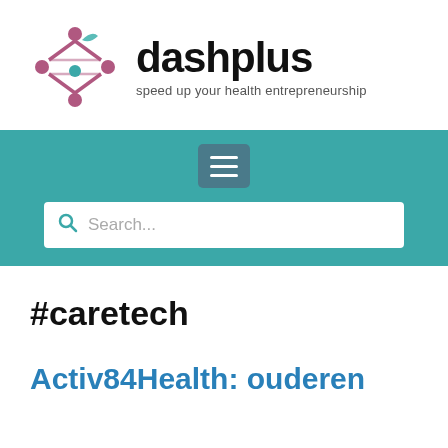[Figure (logo): Dashplus logo: stylized network/molecule icon in mauve/pink with teal leaf accent, next to bold text 'dashplus' and tagline 'speed up your health entrepreneurship']
[Figure (screenshot): Teal navigation band with hamburger menu button and search bar showing 'Search...' placeholder]
#caretech
Activ84Health: ouderen